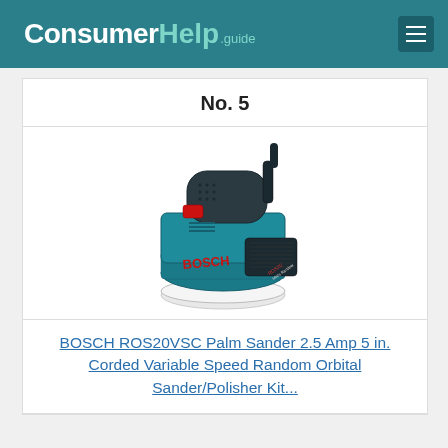ConsumerHelp.guide
No. 5
[Figure (photo): Bosch ROS20VSC random orbital sander/polisher in blue and black, with a round white sanding pad at the base, viewed from a three-quarter angle.]
BOSCH ROS20VSC Palm Sander 2.5 Amp 5 in. Corded Variable Speed Random Orbital Sander/Polisher Kit...